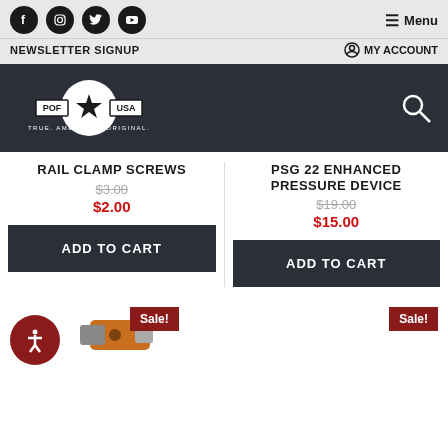Social icons: Facebook, Instagram, Twitter, YouTube | Menu
NEWSLETTER SIGNUP | MY ACCOUNT
[Figure (logo): POF USA logo with star, True. American. Original. tagline on dark background, with search icon]
RAIL CLAMP SCREWS
$3.00
$2.00
PSG 22 ENHANCED PRESSURE DEVICE
$19.00
$15.00
ADD TO CART
ADD TO CART
Sale!
Sale!